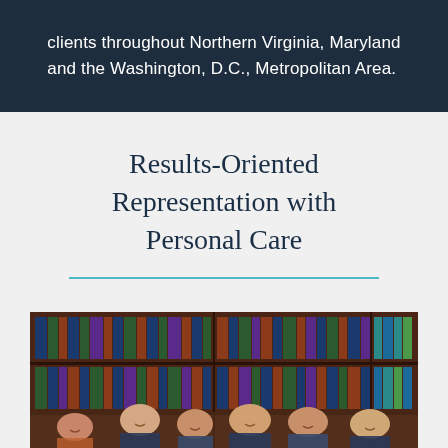clients throughout Northern Virginia, Maryland and the Washington, D.C., Metropolitan Area.
Results-Oriented Representation with Personal Care
[Figure (photo): Group photo of law firm attorneys standing in front of dark wood bookshelves filled with legal volumes. Six professionals (men and women) smiling, dressed in business attire.]